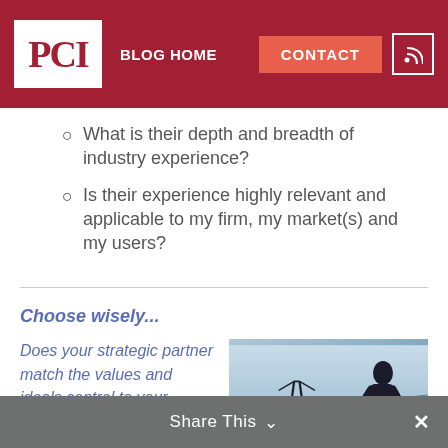PCI | BLOG HOME | CONTACT
What is their depth and breadth of industry experience?
Is their experience highly relevant and applicable to my firm, my market(s) and my users?
Choose wisely...
Does your strategic partner match the values and ideals central to your organization?
[Figure (photo): Silhouette of a person working near power transmission lines against a light blue sky]
Share This